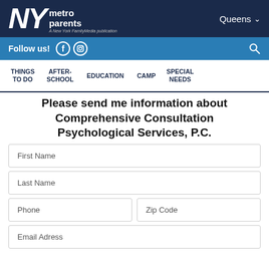NY metro parents — A New York FamilyMedia publication | Queens
Follow us!
THINGS TO DO | AFTER-SCHOOL | EDUCATION | CAMP | SPECIAL NEEDS
Please send me information about Comprehensive Consultation Psychological Services, P.C.
First Name
Last Name
Phone
Zip Code
Email Adress